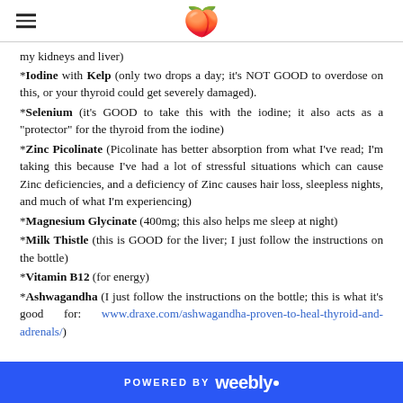[hamburger menu icon] [peach emoji logo]
my kidneys and liver)
*Iodine with Kelp (only two drops a day; it's NOT GOOD to overdose on this, or your thyroid could get severely damaged).
*Selenium (it's GOOD to take this with the iodine; it also acts as a "protector" for the thyroid from the iodine)
*Zinc Picolinate (Picolinate has better absorption from what I've read; I'm taking this because I've had a lot of stressful situations which can cause Zinc deficiencies, and a deficiency of Zinc causes hair loss, sleepless nights, and much of what I'm experiencing)
*Magnesium Glycinate (400mg; this also helps me sleep at night)
*Milk Thistle (this is GOOD for the liver; I just follow the instructions on the bottle)
*Vitamin B12 (for energy)
*Ashwagandha (I just follow the instructions on the bottle; this is what it's good for: www.draxe.com/ashwagandha-proven-to-heal-thyroid-and-adrenals/)
POWERED BY weebly